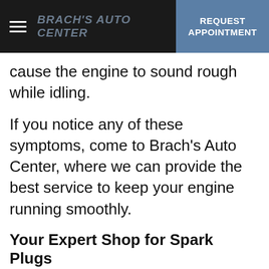BRACH'S AUTO CENTER | REQUEST APPOINTMENT
cause the engine to sound rough while idling.
If you notice any of these symptoms, come to Brach's Auto Center, where we can provide the best service to keep your engine running smoothly.
Your Expert Shop for Spark Plugs
Whether you need spark plugs for your BMW, Chevrolet, Dodge, Ford, or any other make, it is ideally...